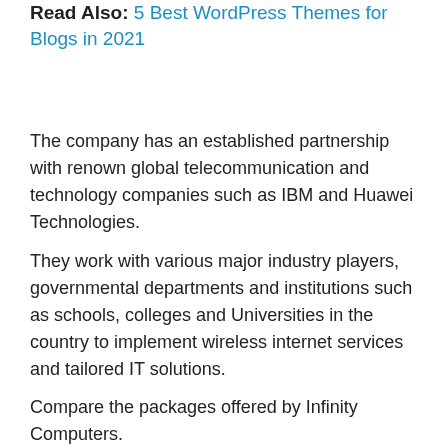Read Also: 5 Best WordPress Themes for Blogs in 2021
The company has an established partnership with renown global telecommunication and technology companies such as IBM and Huawei Technologies.
They work with various major industry players, governmental departments and institutions such as schools, colleges and Universities in the country to implement wireless internet services and tailored IT solutions.
Compare the packages offered by Infinity Computers.